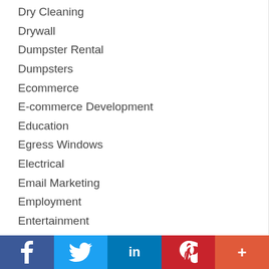Dry Cleaning
Drywall
Dumpster Rental
Dumpsters
Ecommerce
E-commerce Development
Education
Egress Windows
Electrical
Email Marketing
Employment
Entertainment
Entertainment Services
Environment
f  🐦  in  P  +